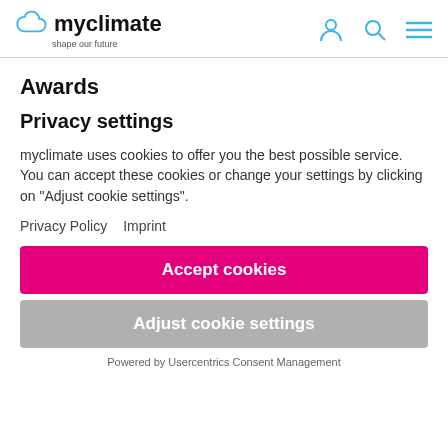[Figure (logo): myclimate logo with cloud icon and tagline 'shape our future', plus navigation icons (person, search, menu)]
Awards
Privacy settings
myclimate uses cookies to offer you the best possible service. You can accept these cookies or change your settings by clicking on "Adjust cookie settings".
Privacy Policy  Imprint
Accept cookies
Adjust cookie settings
Powered by Usercentrics Consent Management